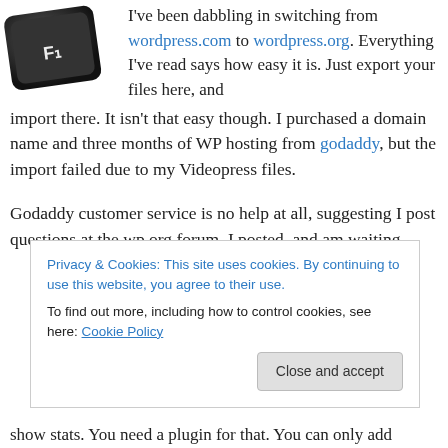[Figure (photo): Black F1 keyboard key photographed at an angle against white background]
I've been dabbling in switching from wordpress.com to wordpress.org. Everything I've read says how easy it is. Just export your files here, and import there. It isn't that easy though. I purchased a domain name and three months of WP hosting from godaddy, but the import failed due to my Videopress files.
Godaddy customer service is no help at all, suggesting I post questions at the wp.org forum. I posted, and am waiting.
Privacy & Cookies: This site uses cookies. By continuing to use this website, you agree to their use. To find out more, including how to control cookies, see here: Cookie Policy
show stats. You need a plugin for that. You can only add